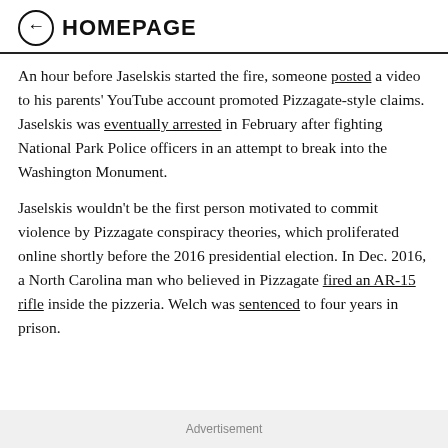← HOMEPAGE
An hour before Jaselskis started the fire, someone posted a video to his parents' YouTube account promoted Pizzagate-style claims. Jaselskis was eventually arrested in February after fighting National Park Police officers in an attempt to break into the Washington Monument.
Jaselskis wouldn't be the first person motivated to commit violence by Pizzagate conspiracy theories, which proliferated online shortly before the 2016 presidential election. In Dec. 2016, a North Carolina man who believed in Pizzagate fired an AR-15 rifle inside the pizzeria. Welch was sentenced to four years in prison.
Advertisement